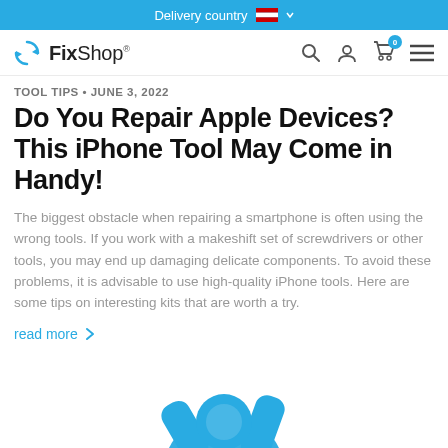Delivery country 🇦🇹
[Figure (logo): FixShop logo with refresh icon, navigation icons for search, user, cart (0), and hamburger menu]
TOOL TIPS • June 3, 2022
Do You Repair Apple Devices? This iPhone Tool May Come in Handy!
The biggest obstacle when repairing a smartphone is often using the wrong tools. If you work with a makeshift set of screwdrivers or other tools, you may end up damaging delicate components. To avoid these problems, it is advisable to use high-quality iPhone tools. Here are some tips on interesting kits that are worth a try.
read more ›
[Figure (illustration): Partial blue FixShop logo/mascot graphic at the bottom of the page]